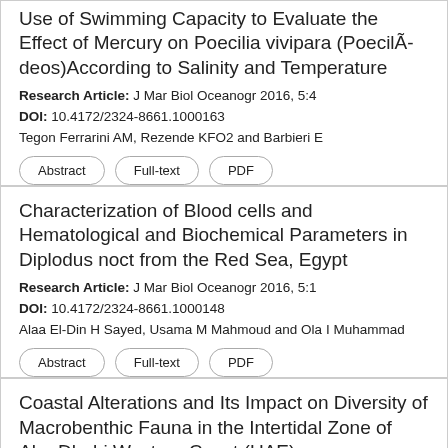Use of Swimming Capacity to Evaluate the Effect of Mercury on Poecilia vivipara (Poecilã-deos)According to Salinity and Temperature
Research Article: J Mar Biol Oceanogr 2016, 5:4
DOI: 10.4172/2324-8661.1000163
Tegon Ferrarini AM, Rezende KFO2 and Barbieri E
Characterization of Blood cells and Hematological and Biochemical Parameters in Diplodus noct from the Red Sea, Egypt
Research Article: J Mar Biol Oceanogr 2016, 5:1
DOI: 10.4172/2324-8661.1000148
Alaa El-Din H Sayed, Usama M Mahmoud and Ola I Muhammad
Coastal Alterations and Its Impact on Diversity of Macrobenthic Fauna in the Intertidal Zone of Abu Dhabi Western Coast (UAE)